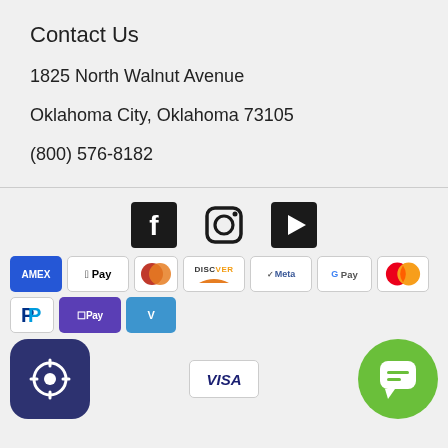Contact Us
1825 North Walnut Avenue
Oklahoma City, Oklahoma 73105
(800) 576-8182
[Figure (infographic): Social media icons: Facebook, Instagram, YouTube]
[Figure (infographic): Payment method logos: AMEX, Apple Pay, Diners Club, Discover, Meta Pay, Google Pay, Mastercard, PayPal, Shop Pay, Venmo, Visa]
[Figure (logo): App icon with gear/settings graphic and chat/support icon]